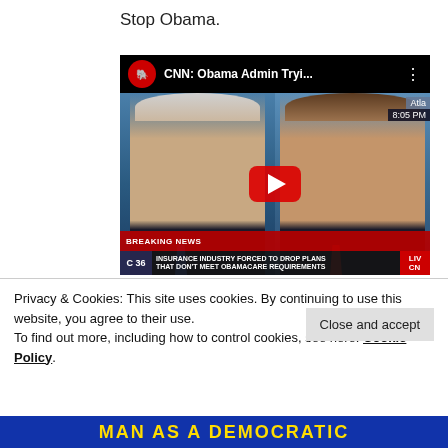Stop Obama.
[Figure (screenshot): YouTube video thumbnail showing CNN news segment titled 'CNN: Obama Admin Tryi...' with two male news anchors, a red YouTube play button overlay, and a CNN breaking news lower-third reading 'INSURANCE INDUSTRY FORCED TO DROP PLANS THAT DON’T MEET OBAMACARE REQUIREMENTS'. The thumbnail features a Republican elephant logo in a red circle. Top right shows 'Atla' and '8:05 PM' badges.]
Privacy & Cookies: This site uses cookies. By continuing to use this website, you agree to their use.
To find out more, including how to control cookies, see here: Cookie Policy
Close and accept
MAN AS A DEMOCRATIC